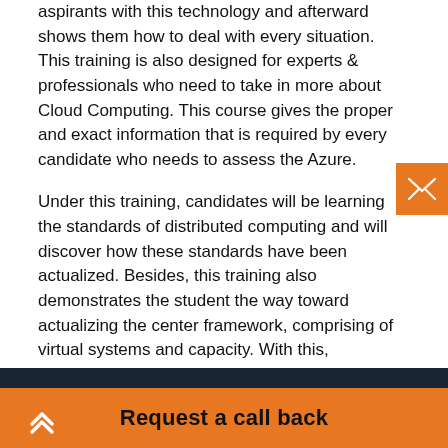aspirants with this technology and afterward shows them how to deal with every situation. This training is also designed for experts & professionals who need to take in more about Cloud Computing. This course gives the proper and exact information that is required by every candidate who needs to assess the Azure.
Under this training, candidates will be learning the standards of distributed computing and will discover how these standards have been actualized. Besides, this training also demonstrates the student the way toward actualizing the center framework, comprising of virtual systems and capacity. With this, candidates can also figure out how to make the most widely recognized management, Web Apps and SQL Databases. After the completion of this training, the student will be a specialist in:
Request a call back